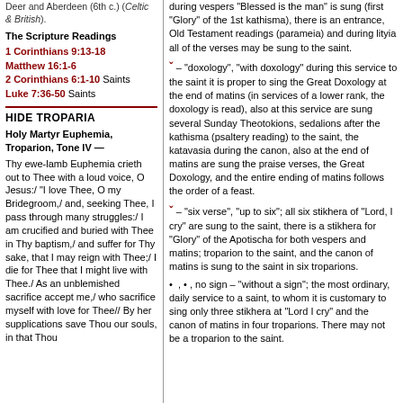Deer and Aberdeen (6th c.) (Celtic & British).
The Scripture Readings
1 Corinthians 9:13-18
Matthew 16:1-6
2 Corinthians 6:1-10 Saints
Luke 7:36-50 Saints
HIDE TROPARIA
Holy Martyr Euphemia, Troparion, Tone IV — Thy ewe-lamb Euphemia crieth out to Thee with a loud voice, O Jesus:/ "I love Thee, O my Bridegroom,/ and, seeking Thee, I pass through many struggles:/ I am crucified and buried with Thee in Thy baptism,/ and suffer for Thy sake, that I may reign with Thee;/ I die for Thee that I might live with Thee./ As an unblemished sacrifice accept me,/ who sacrifice myself with love for Thee// By her supplications save Thou our souls, in that Thou
during vespers "Blessed is the man" is sung (first "Glory" of the 1st kathisma), there is an entrance, Old Testament readings (parameia) and during lityia all of the verses may be sung to the saint.
℃ – "doxology", "with doxology" during this service to the saint it is proper to sing the Great Doxology at the end of matins (in services of a lower rank, the doxology is read), also at this service are sung several Sunday Theotokions, sedalions after the kathisma (psaltery reading) to the saint, the katavasia during the canon, also at the end of matins are sung the praise verses, the Great Doxology, and the entire ending of matins follows the order of a feast.
℃ – "six verse", "up to six"; all six stikhera of "Lord, I cry" are sung to the saint, there is a stikhera for "Glory" of the Apotischa for both vespers and matins; troparion to the saint, and the canon of matins is sung to the saint in six troparions.
•  ,  •  , no sign – "without a sign"; the most ordinary, daily service to a saint, to whom it is customary to sing only three stikhera at "Lord I cry" and the canon of matins in four troparions. There may not be a troparion to the saint.